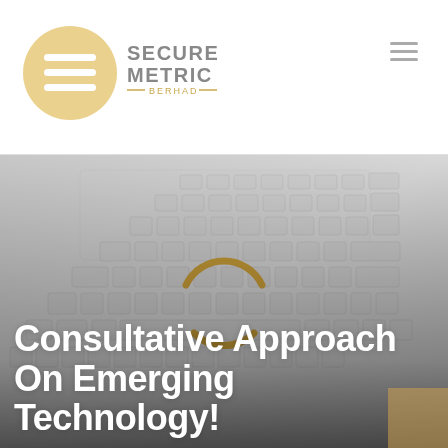[Figure (logo): SecureMetric Berhad logo: circular gold emblem with stylized lines and company name in grey text]
[Figure (photo): Close-up photo of a silver laptop keyboard, faded/light grey tones, with a golden loading spinner icon overlaid in the center, and bold white text at the bottom reading 'Consultative Approach On Emerging Technology!']
Consultative Approach On Emerging Technology!